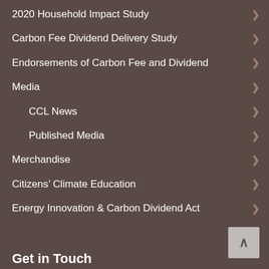2020 Household Impact Study
Carbon Fee Dividend Delivery Study
Endorsements of Carbon Fee and Dividend
Media
CCL News
Published Media
Merchandise
Citizens' Climate Education
Energy Innovation & Carbon Dividend Act
Get in Touch